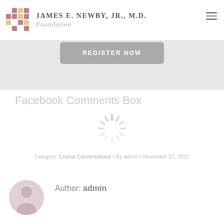James E. Newby, Jr., M.D. Foundation
[Figure (screenshot): REGISTER NOW button in gray rounded rectangle]
Facebook Comments Box
[Figure (other): Loading spinner graphic]
Category: Crucial Conversations • By admin • November 27, 2021
Author: admin